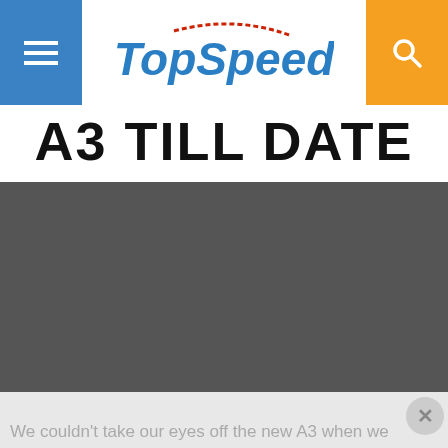TopSpeed
A3 TILL DATE
[Figure (photo): Dark/grey image area showing a car photo, partially visible, with a VIEW PHOTOS button overlay]
We couldn't take our eyes off the new A3 when we